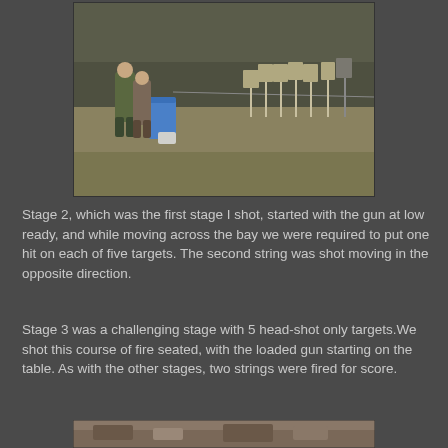[Figure (photo): Outdoor shooting range scene. People standing near a blue barrel on the left side of the frame. Shooting targets on stakes visible in the background right. Bare winter trees and a field with dead grass.]
Stage 2, which was the first stage I shot, started with the gun at low ready, and while moving across the bay we were required to put one hit on each of five targets. The second string was shot moving in the opposite direction.
Stage 3 was a challenging stage with 5 head-shot only targets.We shot this course of fire seated, with the loaded gun starting on the table. As with the other stages, two strings were fired for score.
[Figure (photo): Bottom partial photo showing another outdoor scene, partially visible at the bottom of the page.]